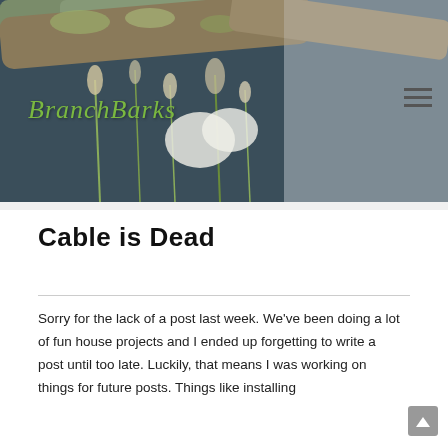[Figure (photo): Nature photo of mossy tree branch with wildflowers and grasses in soft sunlight, used as blog header background. Green text 'BranchBarks' overlaid on the image in italic serif font.]
Cable is Dead
Sorry for the lack of a post last week. We've been doing a lot of fun house projects and I ended up forgetting to write a post until too late. Luckily, that means I was working on things for future posts. Things like installing